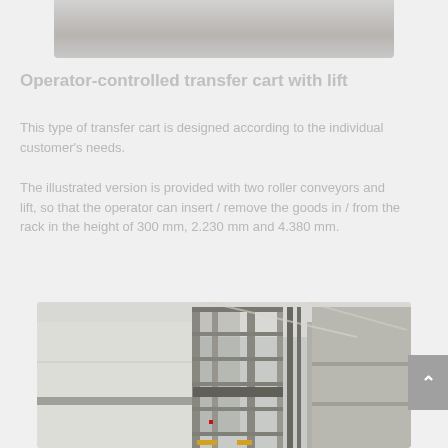[Figure (photo): Top portion of a warehouse/industrial floor photo, partially visible at the top of the page]
Operator-controlled transfer cart with lift
This type of transfer cart is designed according to the individual customer's needs.
The illustrated version is provided with two roller conveyors and lift, so that the operator can insert / remove the goods in / from the rack in the height of 300 mm, 2.230 mm and 4.380 mm.
[Figure (photo): Industrial warehouse interior showing a tall vertical lift/elevator structure with metal frame and multiple levels, inside a large warehouse with white walls and industrial ceiling]